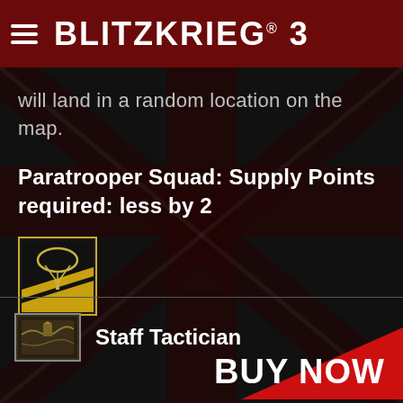BLITZKRIEG® 3
will land in a random location on the map.
Paratrooper Squad: Supply Points required: less by 2
[Figure (illustration): Paratrooper unit icon with gold border showing parachute and chevron symbol on dark background]
[Figure (illustration): Staff Tactician unit icon showing map/terrain graphic with gold border]
Staff Tactician
BUY NOW